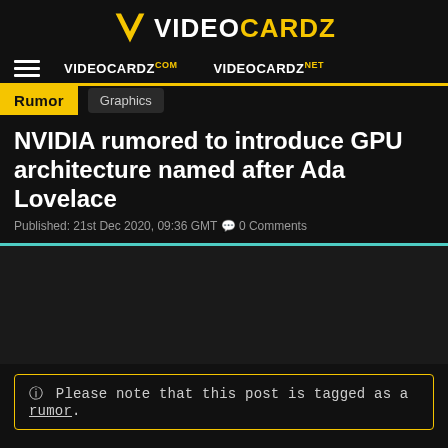[Figure (logo): VideoCardz logo with yellow V icon and text]
VIDEOCARDZ.COM  VIDEOCARDZ.NET
Rumor  Graphics
NVIDIA rumored to introduce GPU architecture named after Ada Lovelace
Published: 21st Dec 2020, 09:36 GMT  0 Comments
Please note that this post is tagged as a rumor.
According to the rumors, NVIDIA might be reshaping its roadmap.